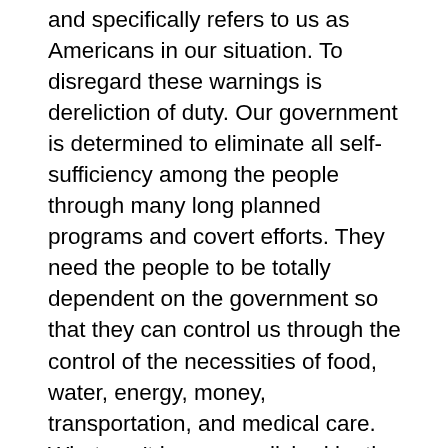and specifically refers to us as Americans in our situation. To disregard these warnings is dereliction of duty. Our government is determined to eliminate all self-sufficiency among the people through many long planned programs and covert efforts. They need the people to be totally dependent on the government so that they can control us through the control of the necessities of food, water, energy, money, transportation, and medical care. What can't be accomplished by the introduction of GMO seeds into the agriculture of the world will be fulfilled by Cass Sunstein's regulatory chains being forged behind closed doors. They will start with the smaller things first and then expand it to include other areas until they DO, in fact, succeed in forcing the closure of ALL the canneries. When they have done that, they will confiscate all other Church and personal food storage items and capabilities by application of some contrived regulation that cannot be realistically adhered to. They have already begun an effort to confiscate the food